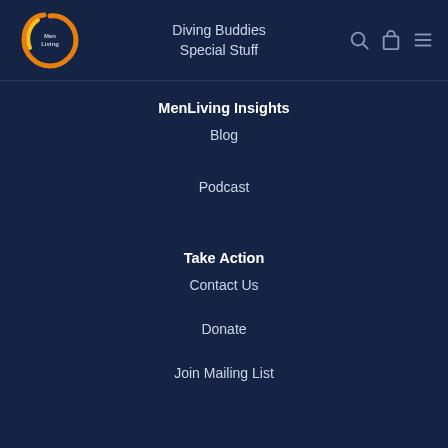[Figure (logo): MenLiving circular logo with orange and yellow brushstroke circle, text 'MenLiving' in center]
Diving Buddies
Special Stuff
MenLiving Insights
Blog
Podcast
Take Action
Contact Us
Donate
Join Mailing List